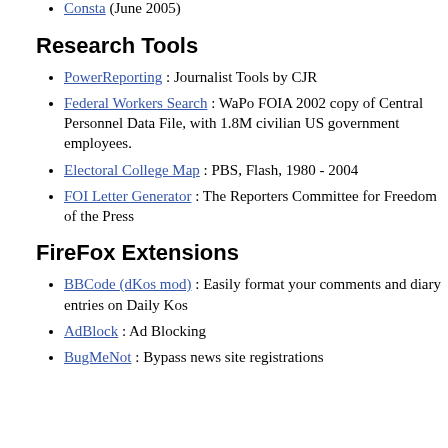511PF
Consta (June 2005)
Research Tools
PowerReporting : Journalist Tools by CJR
Federal Workers Search : WaPo FOIA 2002 copy of Central Personnel Data File, with 1.8M civilian US government employees.
Electoral College Map : PBS, Flash, 1980 - 2004
FOI Letter Generator : The Reporters Committee for Freedom of the Press
FireFox Extensions
BBCode (dKos mod) : Easily format your comments and diary entries on Daily Kos
AdBlock : Ad Blocking
BugMeNot : Bypass news site registrations